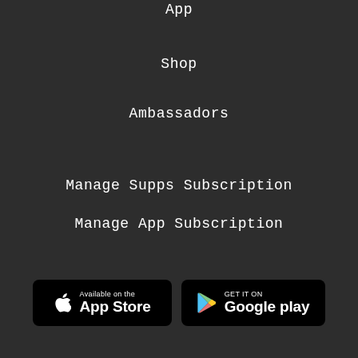App
Shop
Ambassadors
Manage Supps Subscription
Manage App Subscription
[Figure (screenshot): App Store and Google Play download badges side by side on dark background]
Country/region
United States (USD $)